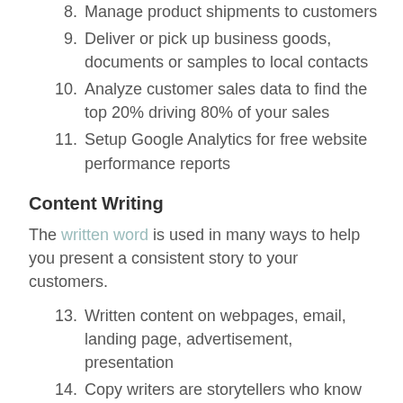8. Manage product shipments to customers
9. Deliver or pick up business goods, documents or samples to local contacts
10. Analyze customer sales data to find the top 20% driving 80% of your sales
11. Setup Google Analytics for free website performance reports
Content Writing
The written word is used in many ways to help you present a consistent story to your customers.
13. Written content on webpages, email, landing page, advertisement, presentation
14. Copy writers are storytellers who know how to put the right words on webpages, emails, landing pages, advertisements, presentations, etc.  to engage audiences